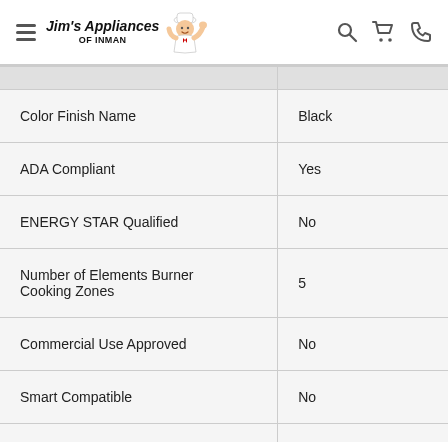Jim's Appliances of Inman
| Feature | Value |
| --- | --- |
| Color Finish Name | Black |
| ADA Compliant | Yes |
| ENERGY STAR Qualified | No |
| Number of Elements Burner Cooking Zones | 5 |
| Commercial Use Approved | No |
| Smart Compatible | No |